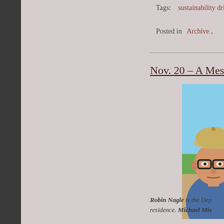Tags:    sustainability driv
Posted in    Archive  ,
Nov. 20 – A Messag
[Figure (photo): Photo of a man wearing glasses and a beige/khaki baseball cap, with a blue shirt, outdoors with blue sky and green foliage in background.]
Robin Nagle is the Dep residence. Michael Mis